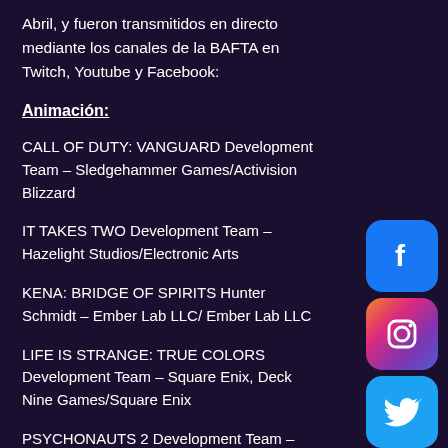Abril, y fueron transmitidos en directo mediante los canales de la BAFTA en Twitch, Youtube y Facebook:
Animación:
CALL OF DUTY: VANGUARD Development Team – Sledgehammer Games/Activision Blizzard
IT TAKES TWO Development Team – Hazelight Studios/Electronic Arts
KENA: BRIDGE OF SPIRITS Hunter Schmidt – Ember Lab LLC/ Ember Lab LLC
LIFE IS STRANGE: TRUE COLORS Development Team – Square Enix, Deck Nine Games/Square Enix
PSYCHONAUTS 2 Development Team –
[Figure (logo): Facebook social media icon - blue rounded square with white f logo]
[Figure (logo): Instagram social media icon - pink/purple rounded square with white camera logo]
[Figure (logo): Twitter social media icon - blue rounded square with white bird logo]
[Figure (logo): Twitch social media icon - purple rounded square with white Twitch logo]